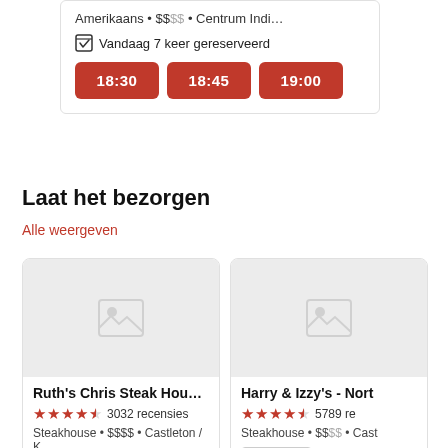Amerikaans • $$  • Centrum Indi…
Vandaag 7 keer gereserveerd
18:30  18:45  19:00
Laat het bezorgen
Alle weergeven
[Figure (screenshot): Restaurant card for Ruth's Chris Steak House with placeholder image, 4.5 star rating, 3032 recensies, Steakhouse • $$$$ • Castleton / K…, 3 bezorgingsopties bekijken button]
[Figure (screenshot): Restaurant card for Harry & Izzy's - Nort with placeholder image, 4.5 star rating, 5789 re, Steakhouse • $$ • Cast, Uber Eats button]